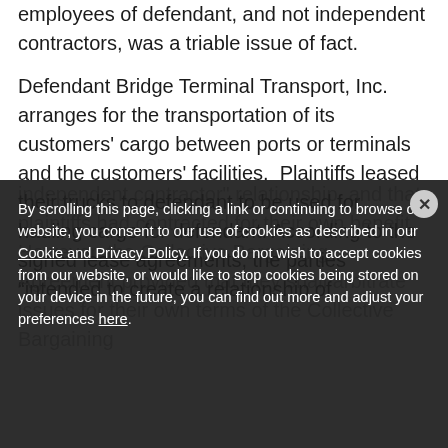employees of defendant, and not independent contractors, was a triable issue of fact.
Defendant Bridge Terminal Transport, Inc. arranges for the transportation of its customers' cargo between ports or terminals and the customers' facilities.  Plaintiffs leased their trucks to defendant to be used for hauling cargo for defendant. According to the signed lease agreements, the parties “intended to create a relationship of
By scrolling this page, clicking a link or continuing to browse our website, you consent to our use of cookies as described in our Cookie and Privacy Policy. If you do not wish to accept cookies from our website, or would like to stop cookies being stored on your device in the future, you can find out more and adjust your preferences here.